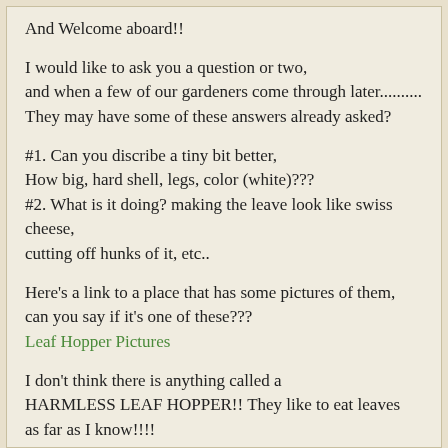And Welcome aboard!!
I would like to ask you a question or two, and when a few of our gardeners come through later.......... They may have some of these answers already asked?
#1. Can you discribe a tiny bit better, How big, hard shell, legs, color (white)??? #2. What is it doing? making the leave look like swiss cheese, cutting off hunks of it, etc..
Here's a link to a place that has some pictures of them, can you say if it's one of these??? Leaf Hopper Pictures
I don't think there is anything called a HARMLESS LEAF HOPPER!! They like to eat leaves as far as I know!!!! I am not an expert though!!!